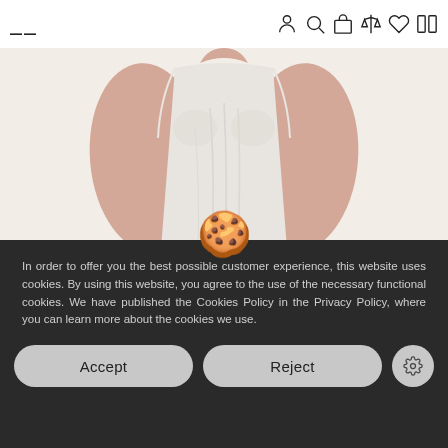Navigation header with hamburger menu and icons (person, search, bag, scale, heart, compare)
[Figure (photo): Person wearing a light gray/white tank top, photographed from the back, hands on hips, showing the back of the garment.]
In order to offer you the best possible customer experience, this website uses cookies. By using this website, you agree to the use of the necessary functional cookies. We have published the Cookies Policy in the Privacy Policy, where you can learn more about the cookies we use.
Accept
Reject